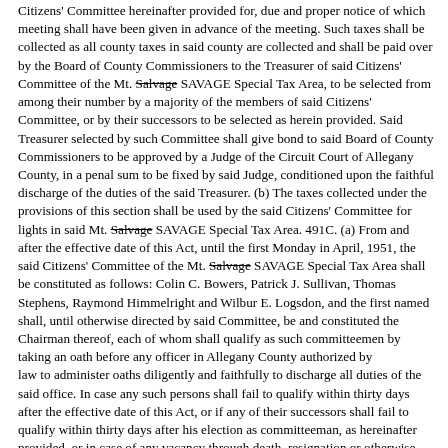Citizens' Committee hereinafter provided for, due and proper notice of which meeting shall have been given in advance of the meeting. Such taxes shall be collected as all county taxes in said county are collected and shall be paid over by the Board of County Commissioners to the Treasurer of said Citizens' Committee of the Mt. Salvage SAVAGE Special Tax Area, to be selected from among their number by a majority of the members of said Citizens' Committee, or by their successors to be selected as herein provided. Said Treasurer selected by such Committee shall give bond to said Board of County Commissioners to be approved by a Judge of the Circuit Court of Allegany County, in a penal sum to be fixed by said Judge, conditioned upon the faithful discharge of the duties of the said Treasurer. (b) The taxes collected under the provisions of this section shall be used by the said Citizens' Committee for lights in said Mt. Salvage SAVAGE Special Tax Area. 491C. (a) From and after the effective date of this Act, until the first Monday in April, 1951, the said Citizens' Committee of the Mt. Salvage SAVAGE Special Tax Area shall be constituted as follows: Colin C. Bowers, Patrick J. Sullivan, Thomas Stephens, Raymond Himmelright and Wilbur E. Logsdon, and the first named shall, until otherwise directed by said Committee, be and constituted the Chairman thereof, each of whom shall qualify as such committeemen by taking an oath before any officer in Allegany County authorized by law to administer oaths diligently and faithfully to discharge all duties of the said office. In case any such persons shall fail to qualify within thirty days after the effective date of this Act, or if any of their successors shall fail to qualify within thirty days after his election as committeeman, as hereinafter provided, or in case of any vacancy through death, resignation or otherwise, the remaining committeemen shall fill such vacancy by the appointment of a resident of said Mt. Savage Special Tax Area, of legal age, and owner of real property in said Mt. Salvage SAVAGE Special Tax Area, who shall hold office for such term or